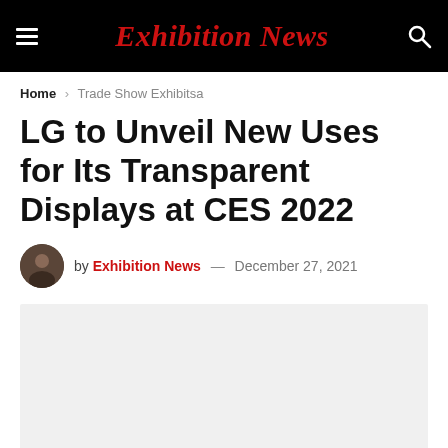Exhibition News
Home > Trade Show Exhibitsa
LG to Unveil New Uses for Its Transparent Displays at CES 2022
by Exhibition News — December 27, 2021
[Figure (photo): Light gray placeholder rectangle for article image]